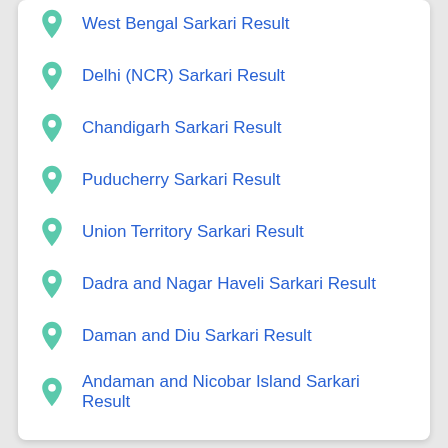West Bengal Sarkari Result
Delhi (NCR) Sarkari Result
Chandigarh Sarkari Result
Puducherry Sarkari Result
Union Territory Sarkari Result
Dadra and Nagar Haveli Sarkari Result
Daman and Diu Sarkari Result
Andaman and Nicobar Island Sarkari Result